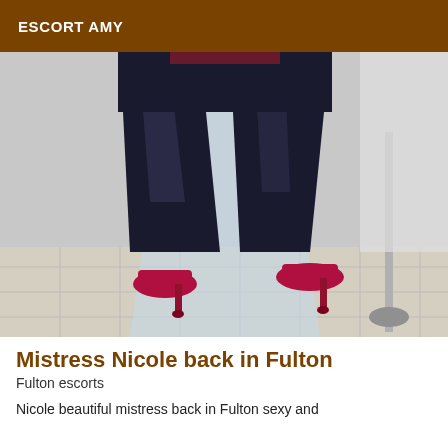ESCORT AMY
[Figure (photo): A person wearing tight black latex/leather pants and red high heels, standing in a room with white walls and tiled floor. Only the lower body is visible.]
Mistress Nicole back in Fulton
Fulton escorts
Nicole beautiful mistress back in Fulton sexy and